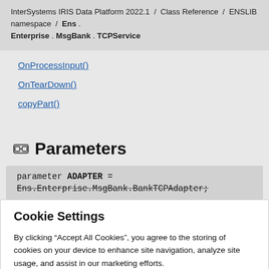InterSystems IRIS Data Platform 2022.1 / Class Reference / ENSLIB namespace / Ens . Enterprise . MsgBank . TCPService
OnProcessInput()
OnTearDown()
copyPart()
Parameters
parameter ADAPTER = Ens.Enterprise.MsgBank.BankTCPAdapter;
Cookie Settings
By clicking “Accept All Cookies”, you agree to the storing of cookies on your device to enhance site navigation, analyze site usage, and assist in our marketing efforts.